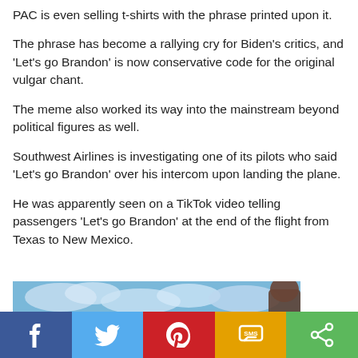PAC is even selling t-shirts with the phrase printed upon it.
The phrase has become a rallying cry for Biden's critics, and 'Let's go Brandon' is now conservative code for the original vulgar chant.
The meme also worked its way into the mainstream beyond political figures as well.
Southwest Airlines is investigating one of its pilots who said 'Let's go Brandon' over his intercom upon landing the plane.
He was apparently seen on a TikTok video telling passengers 'Let's go Brandon' at the end of the flight from Texas to New Mexico.
[Figure (photo): Sky/outdoor scene with blue sky and clouds, partial figure visible on right side]
[Figure (infographic): Social media sharing bar with Facebook, Twitter, Pinterest, SMS, and Share buttons]